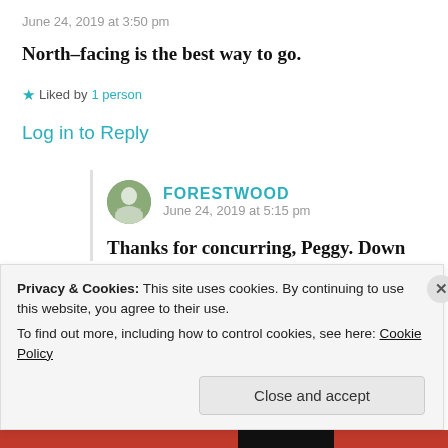June 24, 2019 at 3:50 pm
North–facing is the best way to go.
★ Liked by 1 person
Log in to Reply
FORESTWOOD
June 24, 2019 at 5:15 pm
Thanks for concurring, Peggy. Down
Privacy & Cookies: This site uses cookies. By continuing to use this website, you agree to their use. To find out more, including how to control cookies, see here: Cookie Policy
Close and accept